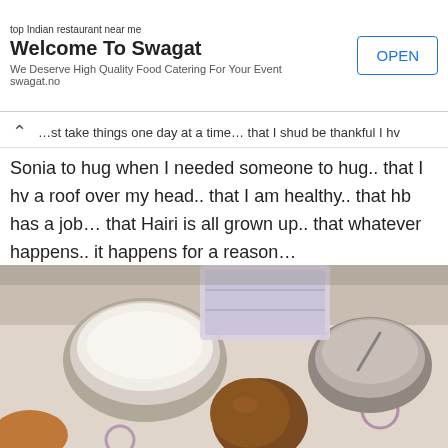[Figure (screenshot): Advertisement banner for Swagat Indian restaurant app with OPEN button]
…st take things one day at a time… that I shud be thankful I hv
Sonia to hug when I needed someone to hug.. that I hv a roof over my head.. that I am healthy.. that hb has a job… that Hairi is all grown up.. that whatever happens.. it happens for a reason…
[Figure (photo): Top-down photo of food items on a table including bowls with flour/powder, a small round pastry or bun, and other food items on a patterned cloth]